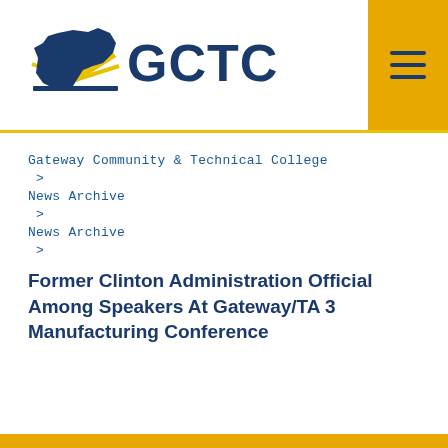[Figure (logo): GCTC Gateway Community & Technical College logo with Kentucky state silhouette and sunburst]
Gateway Community & Technical College
>
News Archive
>
News Archive
>
Former Clinton Administration Official Among Speakers At Gateway/TA 3 Manufacturing Conference